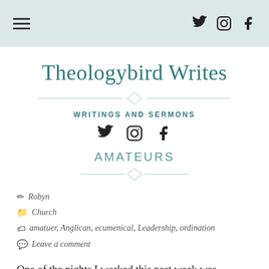Theologybird Writes — navigation and social icons header
Theologybird Writes
WRITINGS AND SERMONS
AMATEURS
✏ Robyn
📁 Church
🏷 amatuer, Anglican, ecumenical, Leadership, ordination
💬 Leave a comment
One of the nights I worked this past week was because of an event held by our local ecumenical  group.  The